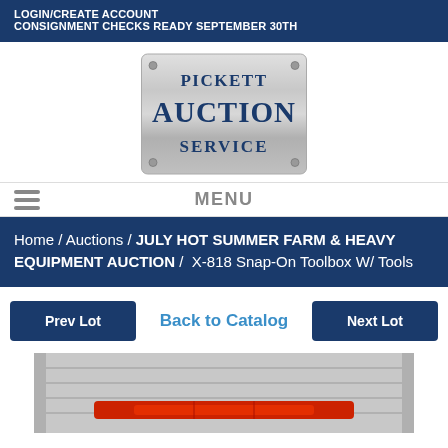LOGIN/CREATE ACCOUNT
CONSIGNMENT CHECKS READY SEPTEMBER 30TH
[Figure (logo): Pickett Auction Service logo on a silver metallic plate with dark blue text and bolt corners]
MENU
Home / Auctions / JULY HOT SUMMER FARM & HEAVY EQUIPMENT AUCTION /  X-818 Snap-On Toolbox W/ Tools
Prev Lot
Back to Catalog
Next Lot
[Figure (photo): Partial photo of a red and silver Snap-On toolbox, showing drawer handles]